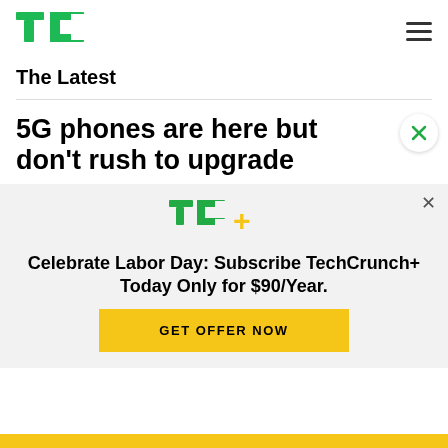TechCrunch logo and navigation menu
The Latest
5G phones are here but don't rush to upgrade
[Figure (logo): TechCrunch+ logo in green with yellow plus sign]
Celebrate Labor Day: Subscribe TechCrunch+ Today Only for $90/Year.
GET OFFER NOW